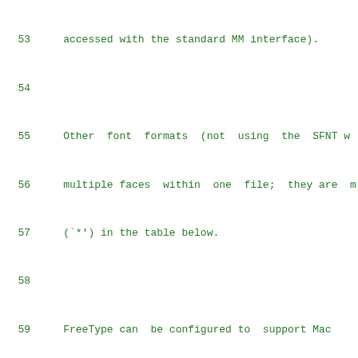53   accessed with the standard MM interface).
54
55       Other font formats (not using the SFNT w
56       multiple faces within one file; they are m
57       (`*') in the table below.
58
59       FreeType can be configured to support Mac 
60       versions, a `file' is stored as a data and a
61       within two separate data chunks). If a file
62       font, FreeType then checks whether it is a r
63       extract the contained font data from eith
64       resource.
65
66
67     Please send additions and/or corrections to
68     FreeType developer's list at freetype-
69     subscribers only). If you can provide a fon
70     which isn't supported yet please send a mail to
71
72
73       wrapper font font glyph FreeType r
74